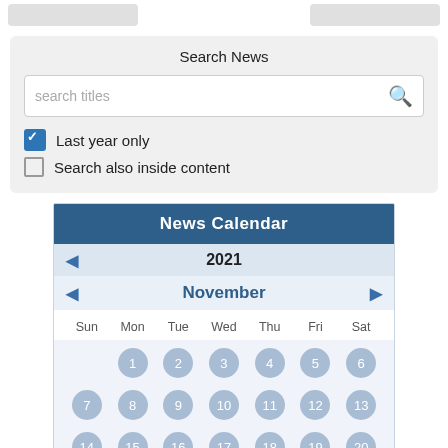[Figure (screenshot): Top partial navigation buttons]
Search News
[Figure (screenshot): Search input field with placeholder 'search titles' and search icon]
Last year only (checked checkbox)
Search also inside content (unchecked checkbox)
News Calendar
2021
November
| Sun | Mon | Tue | Wed | Thu | Fri | Sat |
| --- | --- | --- | --- | --- | --- | --- |
|  | 1 | 2 | 3 | 4 | 5 | 6 |
| 7 | 8 | 9 | 10 | 11 | 12 | 13 |
| 14 | 15 | 16 | 17 | 18 | 19 | 20 |